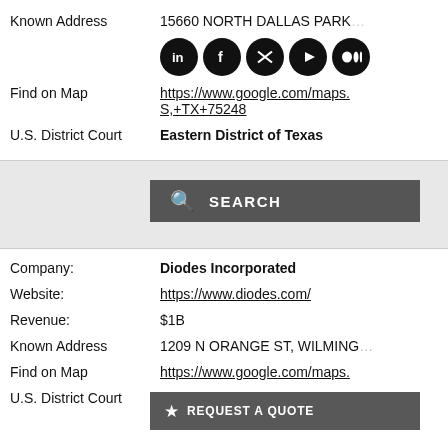| Field | Value |
| --- | --- |
| Known Address | 15660 NORTH DALLAS PARKWAY |
| Find on Map | https://www.google.com/maps.S,+TX+75248 |
| U.S. District Court | Eastern District of Texas |
[Figure (screenshot): Social media icons: LinkedIn, Facebook, Twitter, YouTube, Medium]
[Figure (screenshot): Search button with magnifying glass icon and text SEARCH on dark grey background]
| Field | Value |
| --- | --- |
| Company: | Diodes Incorporated |
| Website: | https://www.diodes.com/ |
| Revenue: | $1B |
| Known Address | 1209 N ORANGE ST, WILMINGTON |
| Find on Map | https://www.google.com/maps. |
| U.S. District Court | District of Delaware |
[Figure (screenshot): REQUEST A QUOTE button with star icon on dark grey background]